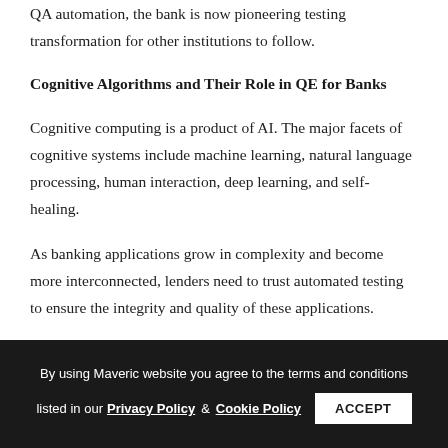QA automation, the bank is now pioneering testing transformation for other institutions to follow.
Cognitive Algorithms and Their Role in QE for Banks
Cognitive computing is a product of AI. The major facets of cognitive systems include machine learning, natural language processing, human interaction, deep learning, and self-healing.
As banking applications grow in complexity and become more interconnected, lenders need to trust automated testing to ensure the integrity and quality of these applications.
By using Maveric website you agree to the terms and conditions listed in our Privacy Policy & Cookie Policy  ACCEPT